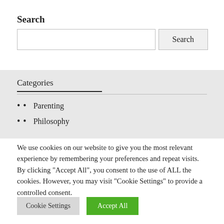Search
[Search input box and Search button]
Categories
Parenting
Philosophy
We use cookies on our website to give you the most relevant experience by remembering your preferences and repeat visits. By clicking "Accept All", you consent to the use of ALL the cookies. However, you may visit "Cookie Settings" to provide a controlled consent.
Cookie Settings | Accept All